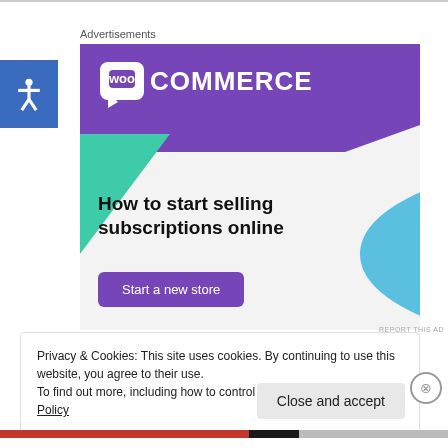Advertisements
[Figure (illustration): WooCommerce advertisement banner. Purple header with WooCommerce speech-bubble logo and wordmark. Teal triangle shape on left side, light blue arc shape on right. Bold text reads: 'How to start selling subscriptions online'. Purple 'Start a new store' button. Light gray background.]
REPORT THIS AD
Privacy & Cookies: This site uses cookies. By continuing to use this website, you agree to their use.
To find out more, including how to control cookies, see here: Cookie Policy
Close and accept